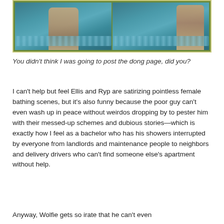[Figure (illustration): Two comic book panels showing a male figure bathing/standing in water, with teal/blue water background. Left panel shows a broader view, right panel shows a closer cropped view. Panels are framed with an olive-green border.]
You didn't think I was going to post the dong page, did you?
I can't help but feel Ellis and Ryp are satirizing pointless female bathing scenes, but it's also funny because the poor guy can't even wash up in peace without weirdos dropping by to pester him with their messed-up schemes and dubious stories—which is exactly how I feel as a bachelor who has his showers interrupted by everyone from landlords and maintenance people to neighbors and delivery drivers who can't find someone else's apartment without help.
Anyway, Wolfie gets so irate that he can't even